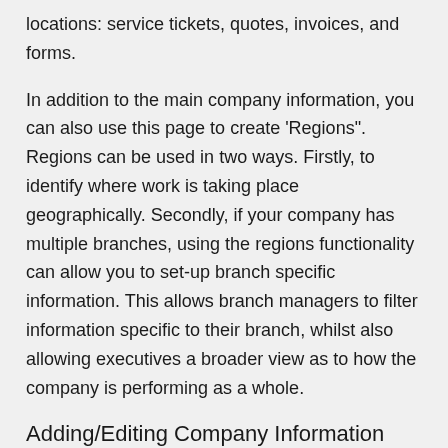locations: service tickets, quotes, invoices, and forms.
In addition to the main company information, you can also use this page to create 'Regions". Regions can be used in two ways. Firstly, to identify where work is taking place geographically. Secondly, if your company has multiple branches, using the regions functionality can allow you to set-up branch specific information. This allows branch managers to filter information specific to their branch, whilst also allowing executives a broader view as to how the company is performing as a whole.
Adding/Editing Company Information
Navigate to Admin > Company > Information.
If you don't currently have any company information in your account, there should be a button that says Add Info. If your company already has information you